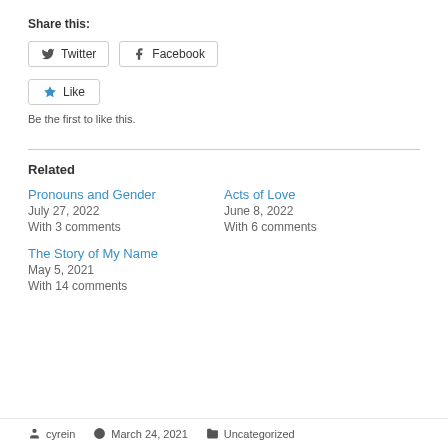Share this:
Twitter  Facebook
Like  Be the first to like this.
Related
Pronouns and Gender
July 27, 2022
With 3 comments
Acts of Love
June 8, 2022
With 6 comments
The Story of My Name
May 5, 2021
With 14 comments
cyrein   March 24, 2021   Uncategorized